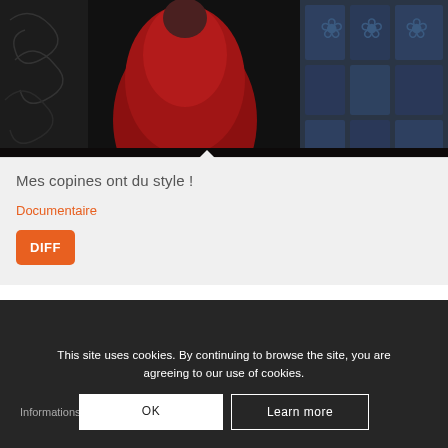[Figure (photo): A dark-toned photo showing a person in a red outfit against a background with artistic wall decor]
Mes copines ont du style !
Documentaire
DIFF
This site uses cookies. By continuing to browse the site, you are agreeing to our use of cookies.
Informations
OK
Learn more